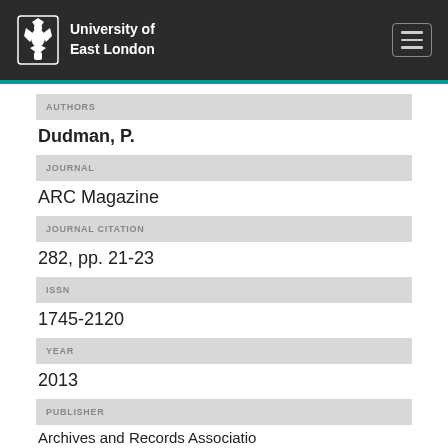University of East London
AUTHORS
Dudman, P.
JOURNAL
ARC Magazine
JOURNAL CITATION
282, pp. 21-23
ISSN
1745-2120
YEAR
2013
PUBLISHER
Archives and Records Association